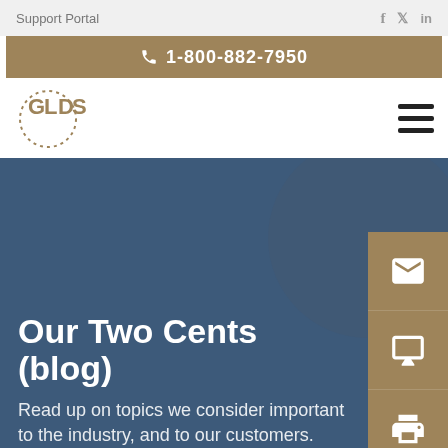Support Portal
1-800-882-7950
[Figure (logo): GLDS company logo with dotted circular border]
Our Two Cents (blog)
Read up on topics we consider important to the industry, and to our customers.